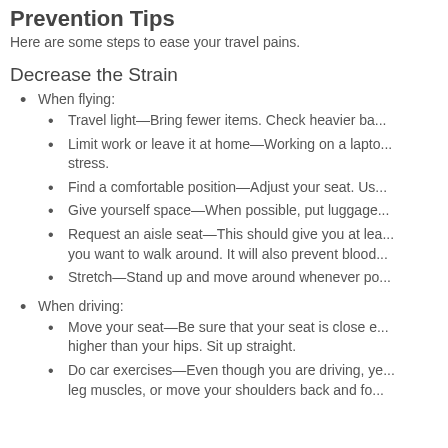Prevention Tips
Here are some steps to ease your travel pains.
Decrease the Strain
When flying:
Travel light—Bring fewer items. Check heavier ba...
Limit work or leave it at home—Working on a lapto... stress.
Find a comfortable position—Adjust your seat. Us...
Give yourself space—When possible, put luggage...
Request an aisle seat—This should give you at lea... you want to walk around. It will also prevent blood...
Stretch—Stand up and move around whenever po...
When driving:
Move your seat—Be sure that your seat is close e... higher than your hips. Sit up straight.
Do car exercises—Even though you are driving, ye... leg muscles, or move your shoulders back and fo...